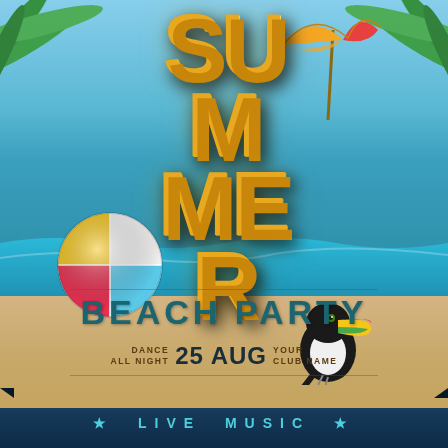[Figure (illustration): Summer beach party poster with 3D inflatable yellow SUMMER letters, beach ball, toucan bird, beach umbrella, palm leaves, ocean and sandy beach background]
SUMMER
BEACH PARTY
DANCE ALL NIGHT  25 AUG  YOUR CLUB NAME
LIVE MUSIC